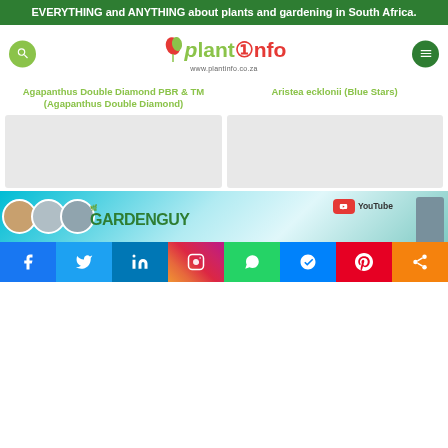EVERYTHING and ANYTHING about plants and gardening in South Africa.
[Figure (logo): Plantinfo logo with leaf graphic and URL www.plantinfo.co.za]
Agapanthus Double Diamond PBR & TM (Agapanthus Double Diamond)
Aristea ecklonii (Blue Stars)
[Figure (photo): Plant image placeholder left]
[Figure (photo): Plant image placeholder right]
[Figure (infographic): YouTube GardenGuy banner with circular profile photos and YouTube logo]
[Figure (infographic): Social media share bar: Facebook, Twitter, LinkedIn, Instagram, WhatsApp, Messenger, Pinterest, Share]